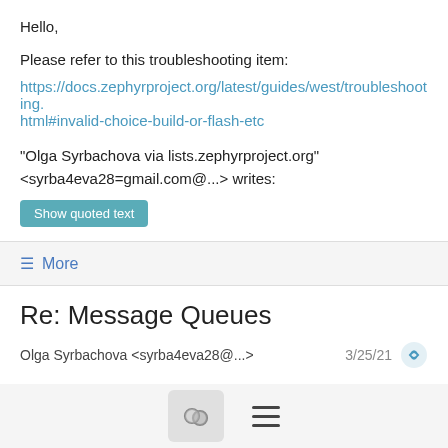Hello,
Please refer to this troubleshooting item:
https://docs.zephyrproject.org/latest/guides/west/troubleshooting.html#invalid-choice-build-or-flash-etc
"Olga Syrbachova via lists.zephyrproject.org" <syrba4eva28=gmail.com@...> writes:
Show quoted text
≡ More
Re: Message Queues
Olga Syrbachova <syrba4eva28@...>   3/25/21
Thank you very much for your reply! Unfortunately I can't find samples/scheduler/metairq_dispatch neither on the website of zephyrproject nor on GIT. Could you please tell me where I can find